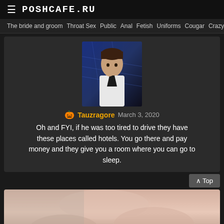POSHCAFE.RU
The bride and groom  Throat Sex  Public  Anal  Fetish  Uniforms  Cougar  Crazy
[Figure (photo): Profile avatar image of user Tauzragore with sci-fi background]
🎃 Tauzragore   March 3, 2020
Oh and FYI, if he was too tired to drive they have these places called hotels. You go there and pay money and they give you a room where you can go to sleep.
^ Top
[Figure (photo): Adult content image partially visible at bottom of page]